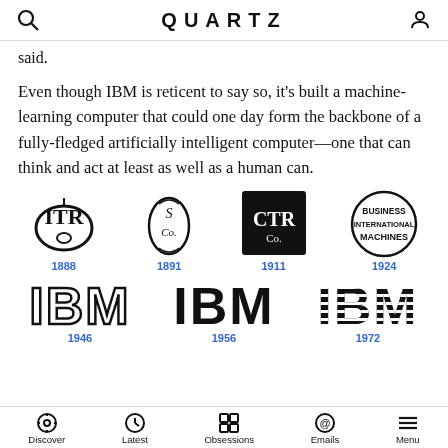QUARTZ
said.
Even though IBM is reticent to say so, it's built a machine-learning computer that could one day form the backbone of a fully-fledged artificially intelligent computer—one that can think and act at least as well as a human can.
[Figure (illustration): IBM logo history showing four early logos with years: 1888 (ITR monogram), 1891 (ornate script), 1911 (CTRCo in black square), 1924 (Business International Machines circular logo)]
[Figure (illustration): IBM logo history showing three modern logos with years: 1946 (IBM outline letters), 1956 (IBM bold letters), 1972 (IBM striped horizontal lines logo)]
Discover | Latest | Obsessions | Emails | Menu